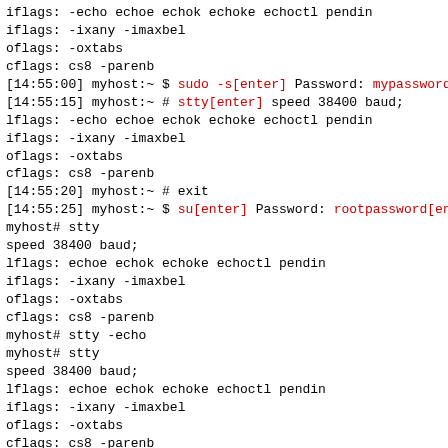iflags: -echo echoe echok echoke echoctl pendin
iflags: -ixany -imaxbel
oflags: -oxtabs
cflags: cs8 -parenb
[14:55:00] myhost:~ $ sudo -s[enter] Password: mypassword
[14:55:15] myhost:~ # stty[enter] speed 38400 baud;
lflags: -echo echoe echok echoke echoctl pendin
iflags: -ixany -imaxbel
oflags: -oxtabs
cflags: cs8 -parenb
[14:55:20] myhost:~ # exit
[14:55:25] myhost:~ $ su[enter] Password: rootpassword[en
myhost# stty
speed 38400 baud;
lflags: echoe echok echoke echoctl pendin
iflags: -ixany -imaxbel
oflags: -oxtabs
cflags: cs8 -parenb
myhost# stty -echo
myhost# stty
speed 38400 baud;
lflags: echoe echok echoke echoctl pendin
iflags: -ixany -imaxbel
oflags: -oxtabs
cflags: cs8 -parenb
myhost#